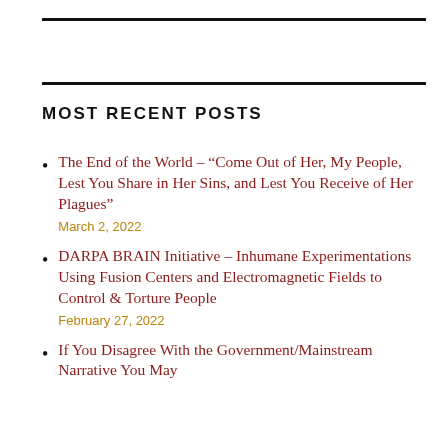MOST RECENT POSTS
The End of the World – “Come Out of Her, My People, Lest You Share in Her Sins, and Lest You Receive of Her Plagues”
March 2, 2022
DARPA BRAIN Initiative – Inhumane Experimentations Using Fusion Centers and Electromagnetic Fields to Control & Torture People
February 27, 2022
If You Disagree With the Government/Mainstream Narrative You May